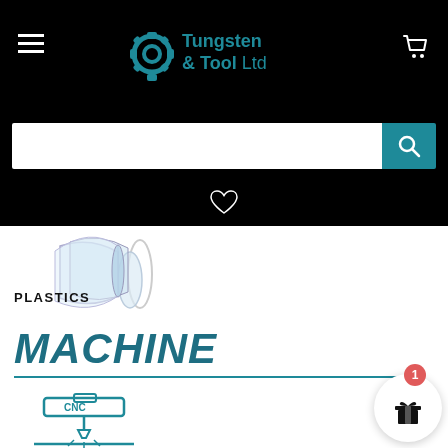Tungsten & Tool Ltd — navigation header with hamburger menu, logo, and cart icon
[Figure (screenshot): Search bar with white input field and teal search button with magnifying glass icon]
[Figure (illustration): Heart/wishlist icon in white outline on black background]
[Figure (illustration): Plastics category illustration showing transparent rolled plastic sheets]
PLASTICS
MACHINE
[Figure (illustration): CNC machine icon in teal line art style]
[Figure (illustration): Gift/reward button with badge showing number 1]